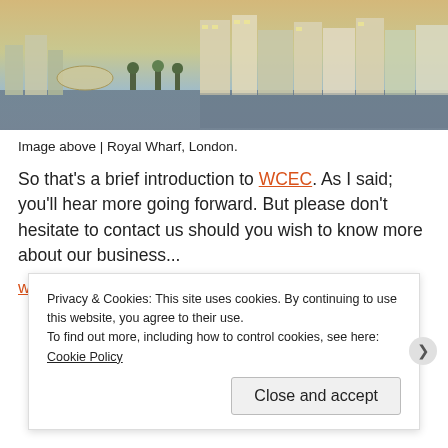[Figure (photo): Aerial/waterfront view of Royal Wharf, London — modern residential buildings along a river at dusk]
Image above | Royal Wharf, London.
So that's a brief introduction to WCEC. As I said; you'll hear more going forward. But please don't hesitate to contact us should you wish to know more about our business...
www.wcec.co.uk
Advertisements
Privacy & Cookies: This site uses cookies. By continuing to use this website, you agree to their use.
To find out more, including how to control cookies, see here: Cookie Policy
Close and accept